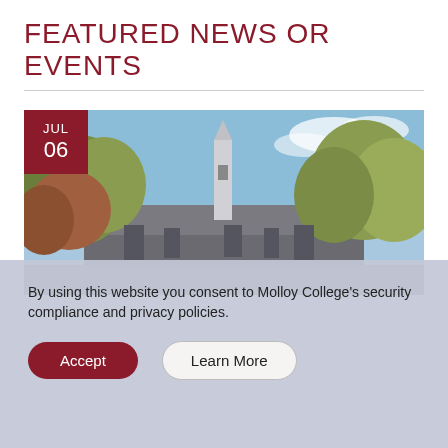FEATURED NEWS OR EVENTS
[Figure (photo): Campus building with trees and a steeple/tower under a blue sky, with a date badge showing JUL 06 in dark red.]
By using this website you consent to Molloy College's security compliance and privacy policies.